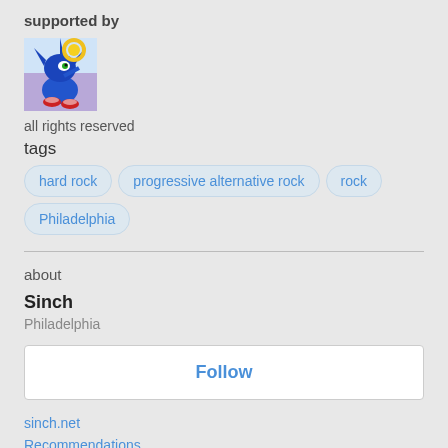supported by
[Figure (illustration): Avatar image of an animated blue character (Sonic-like) with a golden halo/ring and red shoes, on a colorful background]
all rights reserved
tags
hard rock
progressive alternative rock
rock
Philadelphia
about
Sinch
Philadelphia
Follow
sinch.net
Recommendations